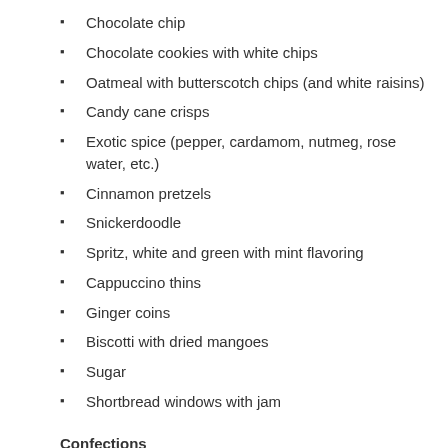Chocolate chip
Chocolate cookies with white chips
Oatmeal with butterscotch chips (and white raisins)
Candy cane crisps
Exotic spice (pepper, cardamom, nutmeg, rose water, etc.)
Cinnamon pretzels
Snickerdoodle
Spritz, white and green with mint flavoring
Cappuccino thins
Ginger coins
Biscotti with dried mangoes
Sugar
Shortbread windows with jam
Confections
Seven layer bars
Fudge with peanuts